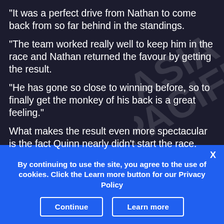“It was a perfect drive from Nathan to come back from so far behind in the standings.
“The team worked really well to keep him in the race and Nathan returned the favour by getting the result.
“He has gone so close to winning before, so to finally get the monkey of his back is a great feeling.”
What makes the result even more spectacular is the fact Quinn nearly didn’t start the race.
By continuing to use the site, you agree to the use of cookies. Click the Learn more button for our Privacy Policy
Continue
Learn more